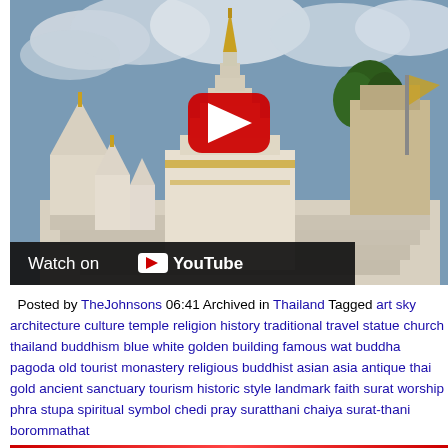[Figure (screenshot): YouTube video embed showing a Buddhist temple (pagoda/stupa) with white and gold spires against a cloudy sky. A red YouTube play button is centered on the image. A 'Watch on YouTube' bar is at the bottom of the video frame.]
Posted by TheJohnsons 06:41 Archived in Thailand Tagged art sky architecture culture temple religion history traditional travel statue church thailand buddhism blue white golden building famous wat buddha pagoda old tourist monastery religious buddhist asian asia antique thai gold ancient sanctuary tourism historic style landmark faith surat worship phra stupa spiritual symbol chedi pray suratthani chaiya surat-thani borommathat Comments (0)